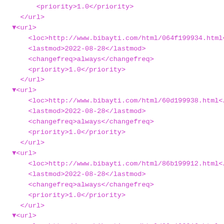XML sitemap code showing multiple <url> blocks with <loc>, <lastmod>, <changefreq>, and <priority> tags for bibayti.com HTML pages
<priority>1.0</priority>
  </url>
▼<url>
    <loc>http://www.bibayti.com/html/064f199934.html</lo
    <lastmod>2022-08-28</lastmod>
    <changefreq>always</changefreq>
    <priority>1.0</priority>
  </url>
▼<url>
    <loc>http://www.bibayti.com/html/60d199938.html</loc
    <lastmod>2022-08-28</lastmod>
    <changefreq>always</changefreq>
    <priority>1.0</priority>
  </url>
▼<url>
    <loc>http://www.bibayti.com/html/86b199912.html</loc
    <lastmod>2022-08-28</lastmod>
    <changefreq>always</changefreq>
    <priority>1.0</priority>
  </url>
▼<url>
    <loc>http://www.bibayti.com/html/82e199916.html</loc
    <lastmod>2022-08-28</lastmod>
    <changefreq>always</changefreq>
    <priority>1.0</priority>
  </url>
▼<url>
    <loc>http://www.bibayti.com/html/046e199952.html</lo
    <lastmod>2022-08-28</lastmod>
    <changefreq>always</changefreq>